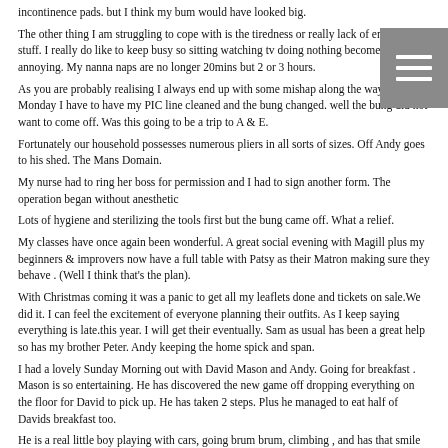incontinence pads. but I think my bum would have looked big.
The other thing I am struggling to cope with is the tiredness or really lack of energy to do stuff. I really do like to keep busy so sitting watching tv doing nothing becomes quite annoying. My nanna naps are no longer 20mins but 2 or 3 hours.
As you are probably realising I always end up with some mishap along the way. Every Monday I have to have my PIC line cleaned and the bung changed. well the bung did not want to come off. Was this going to be a trip to A & E.
Fortunately our household possesses numerous pliers in all sorts of sizes. Off Andy goes to his shed. The Mans Domain.
My nurse had to ring her boss for permission and I had to sign another form. The operation began without anesthetic
Lots of hygiene and sterilizing the tools first but the bung came off. What a relief.
My classes have once again been wonderful. A great social evening with Magill plus my beginners & improvers now have a full table with Patsy as their Matron making sure they behave . (Well I think that's the plan).
With Christmas coming it was a panic to get all my leaflets done and tickets on sale.We did it. I can feel the excitement of everyone planning their outfits. As I keep saying everything is late.this year. I will get their eventually. Sam as usual has been a great help so has my brother Peter. Andy keeping the home spick and span.
I had a lovely Sunday Morning out with David Mason and Andy. Going for breakfast . Mason is so entertaining. He has discovered the new game off dropping everything on the floor for David to pick up. He has taken 2 steps. Plus he managed to eat half of Davids breakfast too.
He is a real little boy playing with cars, going brum brum, climbing , and has that smile that gets him out of trouble. Steph must have a difficult time with 2 boys in the house with that skill.
Well I suppose you are wondering what I am doing writing this in the middle of the night.